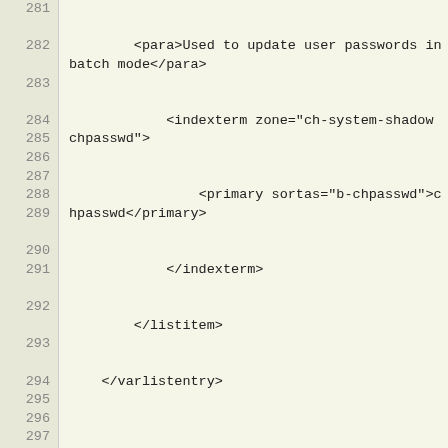281    <para>Used to update user passwords in batch mode</para>
282            <indexterm zone="ch-system-shadow chpasswd">
283                <primary sortas="b-chpasswd">chpasswd</primary>
284            </indexterm>
285        </listitem>
286    </varlistentry>
287
288    <varlistentry id="chsh">
289        <term><command>chsh</command></term>
290        <listitem>
291            <para>Used to change a user's default login shell</para>
292            <indexterm zone="ch-system-shadow chsh">
293                <primary sortas="b-chsh">chsh</primary>
294            </indexterm>
295        </listitem>
296    </varlistentry>
297